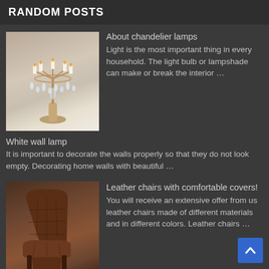RANDOM POSTS
[Figure (photo): Photo of a crystal chandelier table lamp with bronze base on a neutral background]
About chandelier lamps
Light is the most important thing in every household. The light bulb or lampshade can make or break the interior …
White wall lamp
It is important to decorate the walls properly so that they do not look empty. Decorating home walls with beautiful …
[Figure (photo): Photo of a brown tufted leather armchair with a low seat and wingback style]
Leather chairs with comfortable covers!
You will receive an extensive offer from us leather chairs made of different materials and in different colors. Leather chairs …